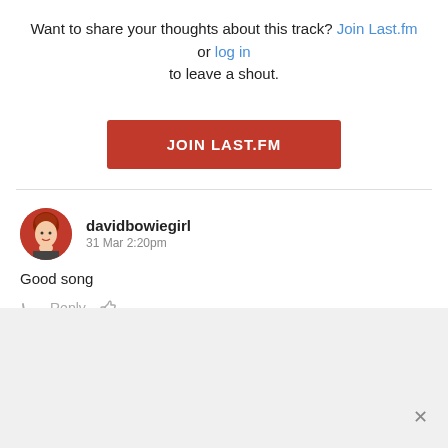Want to share your thoughts about this track? Join Last.fm or log in to leave a shout.
[Figure (other): Red JOIN LAST.FM button]
[Figure (photo): Avatar photo of user davidbowiegirl - woman with red hair]
davidbowiegirl
31 Mar 2:20pm
Good song
Reply (with reply and like icons)
View all shouts